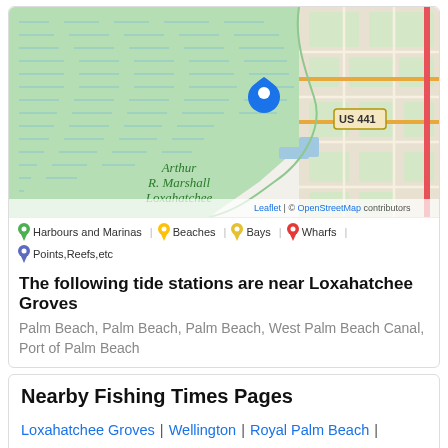[Figure (map): Interactive map showing Arthur R. Marshall Loxahatchee area with a blue location pin marker, US 441 highway label, route 93, and OpenStreetMap tiles. The western portion shows blue-green water/wetland area with dashed blue lines. The eastern portion shows a road grid with tan/green city areas.]
Harbours and Marinas | Beaches | Bays | Wharfs | Points,Reefs,etc
The following tide stations are near Loxahatchee Groves
Palm Beach, Palm Beach, Palm Beach, West Palm Beach Canal, Port of Palm Beach
Nearby Fishing Times Pages
Loxahatchee Groves | Wellington | Royal Palm Beach | Plantation Mobile Home Park | Royal Palm Estates | Lake Belvedere Estates | Haverhill | Schall Circle | Greenacres City | Lake Worth Corridor